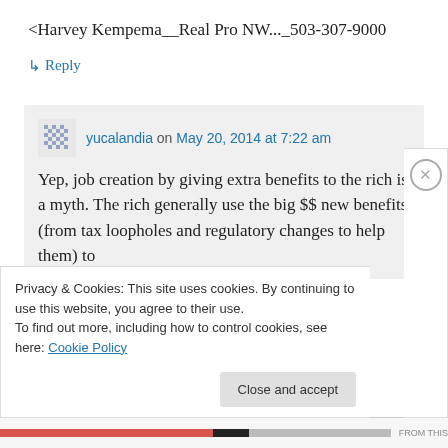<Harvey Kempema__Real Pro NW..._503-307-9000
↳ Reply
yucalandia on May 20, 2014 at 7:22 am
Yep, job creation by giving extra benefits to the rich is a myth. The rich generally use the big $$ new benefits (from tax loopholes and regulatory changes to help them) to
Privacy & Cookies: This site uses cookies. By continuing to use this website, you agree to their use.
To find out more, including how to control cookies, see here: Cookie Policy
Close and accept